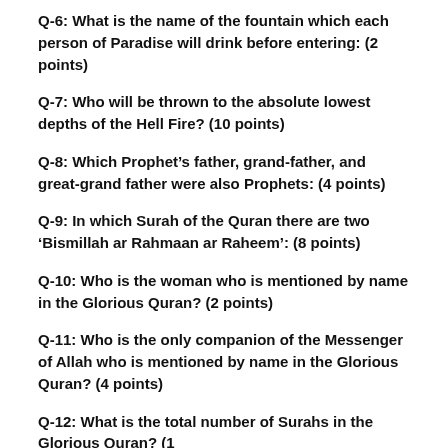Q-6: What is the name of the fountain which each person of Paradise will drink before entering: (2 points)
Q-7: Who will be thrown to the absolute lowest depths of the Hell Fire? (10 points)
Q-8: Which Prophet's father, grand-father, and great-grand father were also Prophets: (4 points)
Q-9: In which Surah of the Quran there are two 'Bismillah ar Rahmaan ar Raheem': (8 points)
Q-10: Who is the woman who is mentioned by name in the Glorious Quran? (2 points)
Q-11: Who is the only companion of the Messenger of Allah who is mentioned by name in the Glorious Quran? (4 points)
Q-12: What is the total number of Surahs in the Glorious Quran? (1